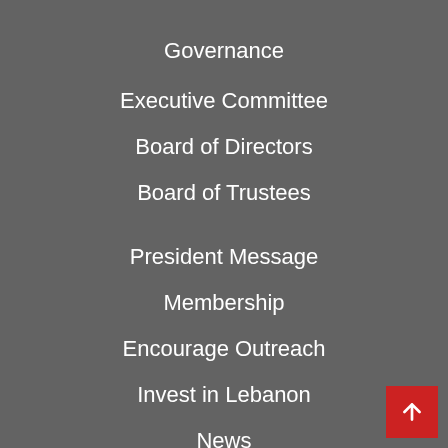Governance
Executive Committee
Board of Directors
Board of Trustees
President Message
Membership
Encourage Outreach
Invest in Lebanon
News
Activities